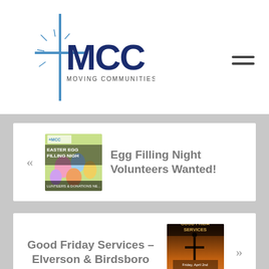[Figure (logo): MCC church logo with blue cross and text 'MCC MOVING COMMUNITIES TO CHRIST']
[Figure (illustration): Easter Egg Filling Night event flyer thumbnail - colorful Easter eggs background with text]
Egg Filling Night Volunteers Wanted!
[Figure (photo): Good Friday Services event photo thumbnail - silhouette against sunset sky with text 'GOOD FRIDAY SERVICES, Friday, April 2nd, 7:00 pm, ELVERSON & BIRDSBORO CAMPUSES']
Good Friday Services – Elverson & Birdsboro